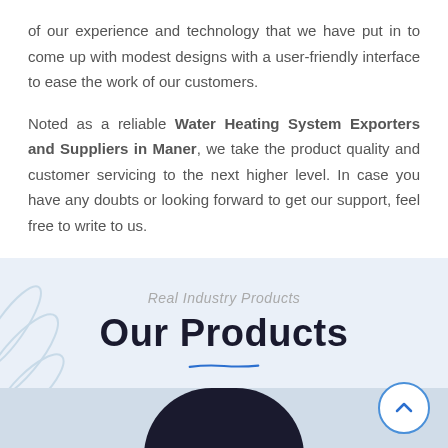of our experience and technology that we have put in to come up with modest designs with a user-friendly interface to ease the work of our customers.
Noted as a reliable Water Heating System Exporters and Suppliers in Maner, we take the product quality and customer servicing to the next higher level. In case you have any doubts or looking forward to get our support, feel free to write to us.
Real Industry Products
Our Products
[Figure (illustration): Decorative blue brush-stroke underline beneath 'Our Products' heading, and a dark silhouette of a product at the bottom of a light blue section with leaf decorations on the left side. A circular scroll-up button is in the bottom right.]